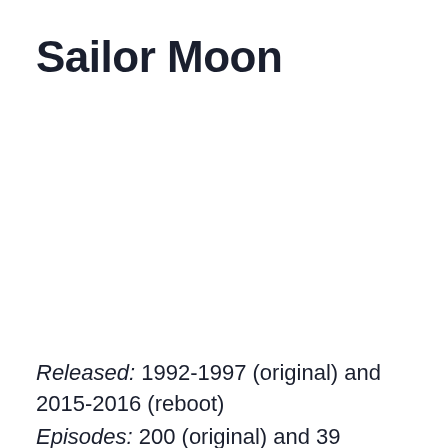Sailor Moon
Released: 1992-1997 (original) and 2015-2016 (reboot)
Episodes: 200 (original) and 39 (reboot)